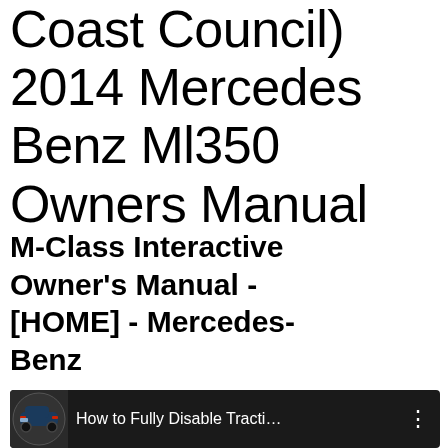Coast Council) 2014 Mercedes Benz Ml350 Owners Manual
M-Class Interactive Owner's Manual - [HOME] - Mercedes-Benz
[Figure (screenshot): YouTube video thumbnail showing a dark-colored Mercedes-Benz car with the title 'How to Fully Disable Tracti...' and a three-dot menu icon on a dark background.]